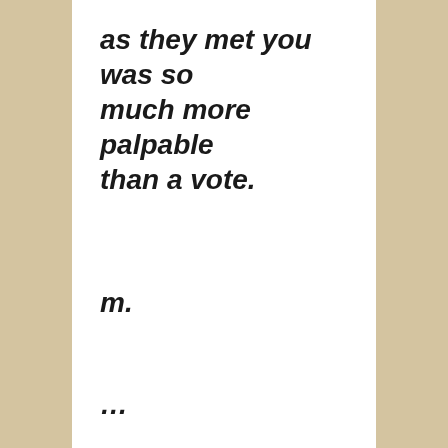as they met you was so much more palpable than a vote.
m.
...
A note for booksellers -- there's a Children's Book Author Breakfast